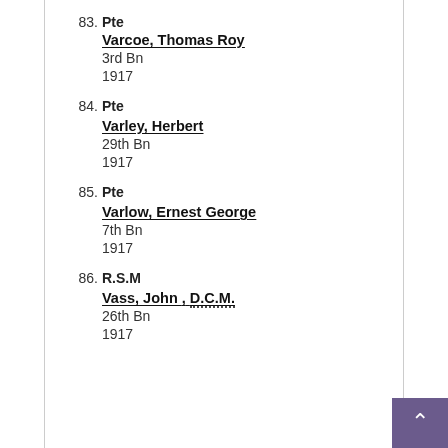83. Pte
Varcoe, Thomas Roy
3rd Bn
1917
84. Pte
Varley, Herbert
29th Bn
1917
85. Pte
Varlow, Ernest George
7th Bn
1917
86. R.S.M
Vass, John , D.C.M.
26th Bn
1917